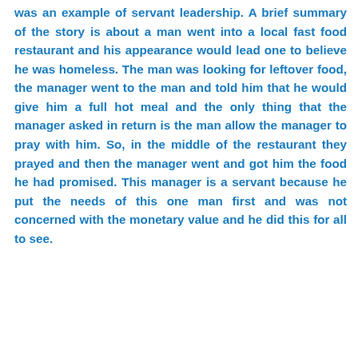was an example of servant leadership. A brief summary of the story is about a man went into a local fast food restaurant and his appearance would lead one to believe he was homeless. The man was looking for leftover food, the manager went to the man and told him that he would give him a full hot meal and the only thing that the manager asked in return is the man allow the manager to pray with him. So, in the middle of the restaurant they prayed and then the manager went and got him the food he had promised. This manager is a servant because he put the needs of this one man first and was not concerned with the monetary value and he did this for all to see.